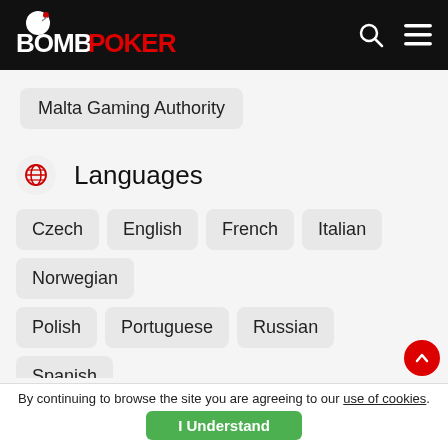[Figure (logo): Bomb Poker logo in white and red on black header bar, with search and menu icons]
Malta Gaming Authority
Languages
Czech
English
French
Italian
Norwegian
Polish
Portuguese
Russian
Spanish
Swedish
Currencies
Australian Dollar
British Pound Sterling
By continuing to browse the site you are agreeing to our use of cookies.
I Understand